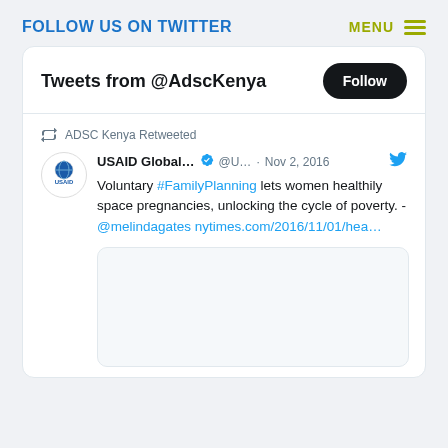FOLLOW US ON TWITTER
MENU
Tweets from @AdscKenya
Follow
ADSC Kenya Retweeted
USAID Global... ✓ @U... · Nov 2, 2016
Voluntary #FamilyPlanning lets women healthily space pregnancies, unlocking the cycle of poverty. - @melindagates nytimes.com/2016/11/01/hea…
[Figure (screenshot): Truncated image preview area below the tweet, shown as a light grey rounded rectangle]